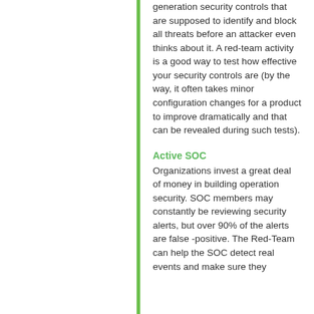generation security controls that are supposed to identify and block all threats before an attacker even thinks about it. A red-team activity is a good way to test how effective your security controls are (by the way, it often takes minor configuration changes for a product to improve dramatically and that can be revealed during such tests).
Active SOC
Organizations invest a great deal of money in building operation security. SOC members may constantly be reviewing security alerts, but over 90% of the alerts are false -positive. The Red-Team can help the SOC detect real events and make sure they